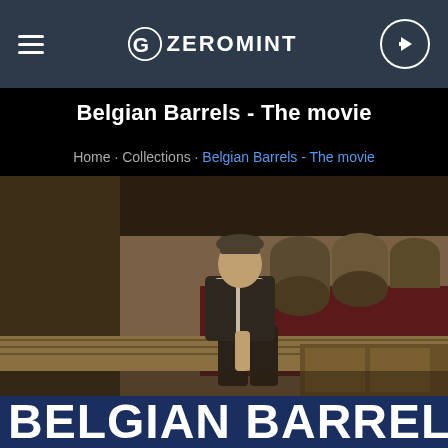GZEROMINT navigation bar with hamburger menu and login button
Belgian Barrels - The movie
Home · Collections · Belgian Barrels - The movie
[Figure (photo): Sepia-toned photo of a man in a vest and cap sitting on wooden crates in a warehouse with wine barrels and an old truck in the background]
BELGIAN BARRELS - THE